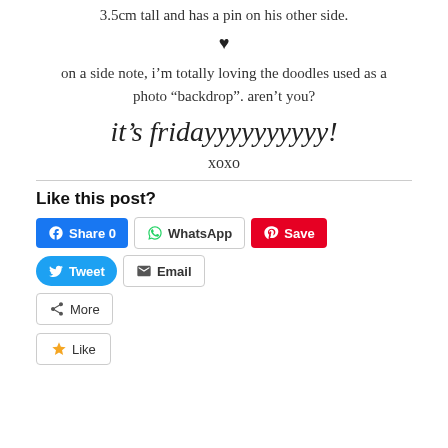3.5cm tall and has a pin on his other side.
♥
on a side note, i'm totally loving the doodles used as a photo “backdrop”. aren’t you?
it’s fridayyyyyyyyyy!
xoxo
Like this post?
Share 0  WhatsApp  Save  Tweet  Email  More
Like